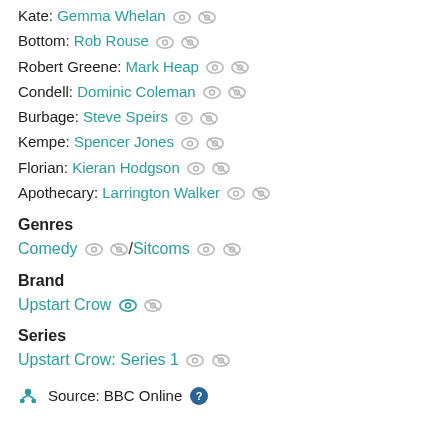Kate: Gemma Whelan
Bottom: Rob Rouse
Robert Greene: Mark Heap
Condell: Dominic Coleman
Burbage: Steve Speirs
Kempe: Spencer Jones
Florian: Kieran Hodgson
Apothecary: Larrington Walker
Genres
Comedy / Sitcoms
Brand
Upstart Crow
Series
Upstart Crow: Series 1
Source: BBC Online